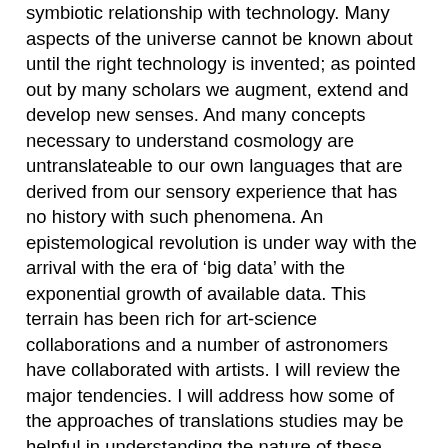symbiotic relationship with technology. Many aspects of the universe cannot be known about until the right technology is invented; as pointed out by many scholars we augment, extend and develop new senses. And many concepts necessary to understand cosmology are untranslateable to our own languages that are derived from our sensory experience that has no history with such phenomena. An epistemological revolution is under way with the arrival with the era of ‘big data’ with the exponential growth of available data. This terrain has been rich for art-science collaborations and a number of astronomers have collaborated with artists. I will review the major tendencies. I will address how some of the approaches of translations studies may be helpful in understanding the nature of these collaborations. If we are badly designed to understand the universe, as a species we have developed ever more sophisticated ‘avatars, our scientific instruments, with whom we work to overcome the deficiencies of our own cognitive systems. As an astrophysicist and an art-science researcher I will bring to